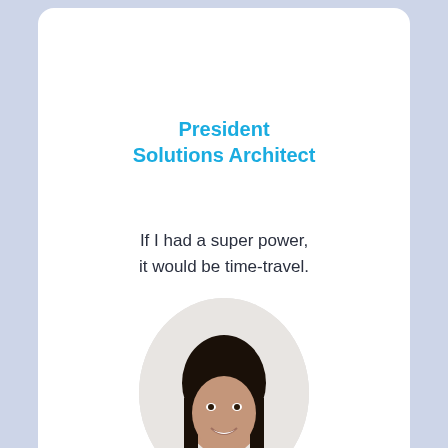President
Solutions Architect
If I had a super power, it would be time-travel.
[Figure (logo): LinkedIn icon — white 'in' logo on dark blue circle background]
[Figure (photo): Circular profile photo of a smiling woman with long dark hair, partially visible at bottom of page]